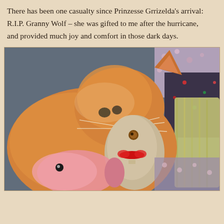There has been one casualty since Prinzesse Grrizelda's arrival: R.I.P. Granny Wolf – she was gifted to me after the hurricane, and provided much joy and comfort in those dark days.
[Figure (photo): An orange tabby cat lying on its back surrounded by stuffed animal toys, including a rag doll with yarn hair and button eyes, and a pink plush fish. The cat is looking upward. The scene is brightly lit, suggesting sunlight.]